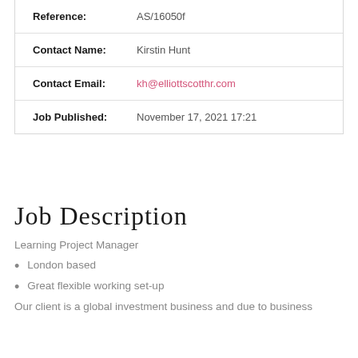| Reference: | AS/16050f |
| Contact Name: | Kirstin Hunt |
| Contact Email: | kh@elliottscotthr.com |
| Job Published: | November 17, 2021 17:21 |
Job Description
Learning Project Manager
London based
Great flexible working set-up
Our client is a global investment business and due to business